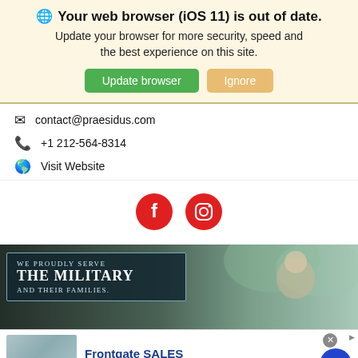Your web browser (iOS 11) is out of date. Update your browser for more security, speed and the best experience on this site. [Update browser] [Ignore]
contact@praesidus.com
+1 212-564-8314
Visit Website
[Figure (infographic): Social media icons: Facebook (red circle with white f) and Instagram (red circle with white camera/Instagram icon)]
[Figure (infographic): Military service advertisement banner with dark background and text box reading 'WE PROUDLY SERVE THE MILITARY AND THEIR FAMILIES.' and a child waving a flag on the right side]
[Figure (infographic): Frontgate SALES advertisement: image of bedding on left, text 'Frontgate SALES - Up to 30% off sitewide from August 23-25 - www.frontgate.com', blue arrow button on right, close X button]